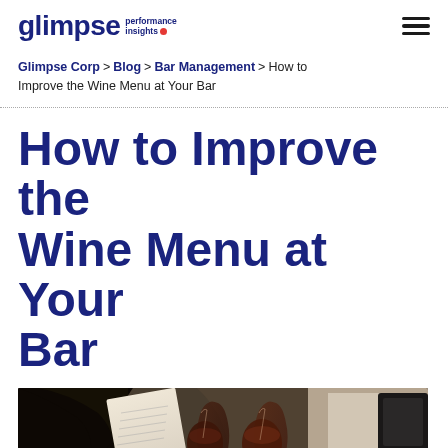glimpse performance insights
Glimpse Corp > Blog > Bar Management > How to Improve the Wine Menu at Your Bar
How to Improve the Wine Menu at Your Bar
[Figure (photo): Person reviewing a menu with two glasses of red wine in the foreground on a dark bar counter]